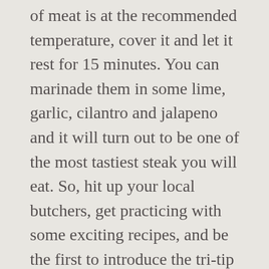of meat is at the recommended temperature, cover it and let it rest for 15 minutes. You can marinade them in some lime, garlic, cilantro and jalapeno and it will turn out to be one of the most tastiest steak you will eat. So, hit up your local butchers, get practicing with some exciting recipes, and be the first to introduce the tri-tip to your BBQ buddies! Sitting below and in front of the hip of the cow, the tip joins the flank and round primals. As an Amazon Associate I earn from qualifying purchases. But first, a lot of people want to know if it is best to cut a tri-tip cooked or uncooked. Rotate your meat, and finish the cutting, always having in mind to cut against the grain. Well, if you don't cut it as it should, it